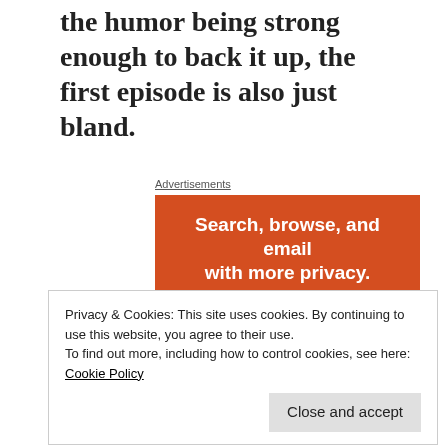the humor being strong enough to back it up, the first episode is also just bland.
Advertisements
[Figure (advertisement): DuckDuckGo advertisement showing 'Search, browse, and email with more privacy. All in One Free App' on an orange background with a phone graphic and duck logo.]
Privacy & Cookies: This site uses cookies. By continuing to use this website, you agree to their use.
To find out more, including how to control cookies, see here: Cookie Policy
explain the meteor, and the opening